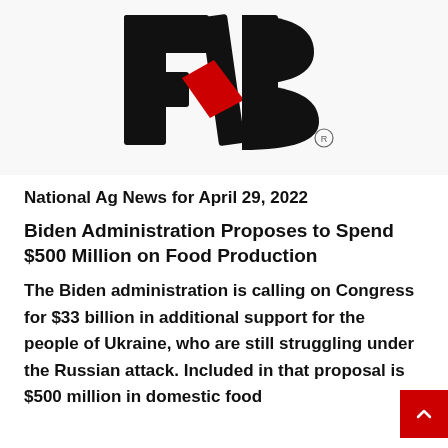[Figure (logo): Farm Bureau logo — stylized FB letters in black with a red angular accent shape in the center]
National Ag News for April 29, 2022
Biden Administration Proposes to Spend $500 Million on Food Production
The Biden administration is calling on Congress for $33 billion in additional support for the people of Ukraine, who are still struggling under the Russian attack. Included in that proposal is $500 million in domestic food